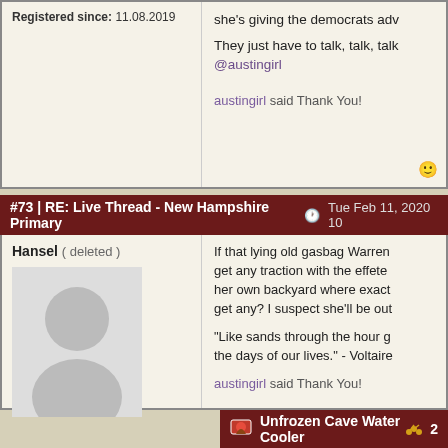Registered since: 11.08.2019
she's giving the democrats adv
They just have to talk, talk, talk @austingirl
austingirl said Thank You!
#73 | RE: Live Thread - New Hampshire Primary  Tue Feb 11, 2020 10
Hansel ( deleted )
[Figure (illustration): Generic user avatar silhouette placeholder]
If that lying old gasbag Warren get any traction with the effete her own backyard where exact get any? I suspect she'll be out
“Like sands through the hour g the days of our lives.” - Voltaire
austingirl said Thank You!
Unfrozen Cave Water Cooler  2